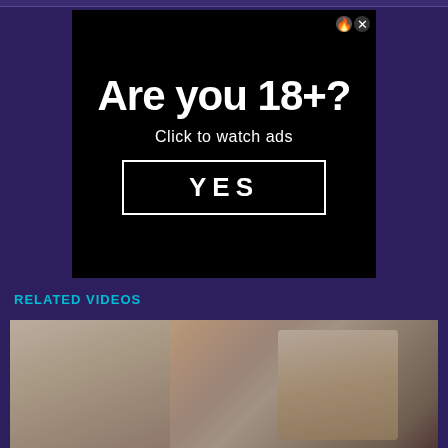[Figure (screenshot): Age verification advertisement overlay on a dark purple website background. Black box with white bold text 'Are you 18+?' and 'Click to watch ads', with a white-bordered YES button.]
RELATED VIDEOS
[Figure (photo): Thumbnail image of two people in an intimate scene, cropped view.]